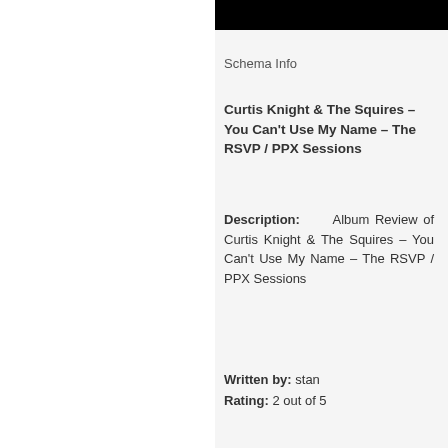Schema Info
Curtis Knight & The Squires – You Can't Use My Name – The RSVP / PPX Sessions
Description: Album Review of Curtis Knight & The Squires – You Can't Use My Name – The RSVP / PPX Sessions
Written by: stan
Rating: 2 out of 5